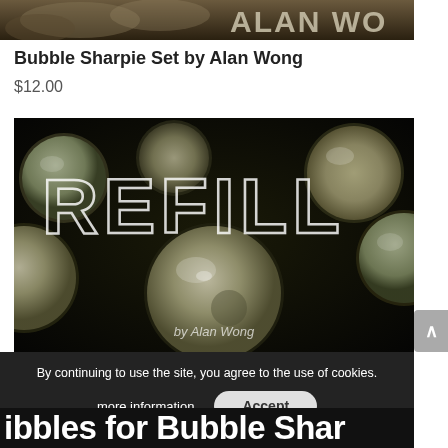[Figure (photo): Top cropped image strip showing marbles/rocks with partial text 'ALAN WO' in bold grey letters on right side]
Bubble Sharpie Set by Alan Wong
$12.00
[Figure (photo): Photo of glass marbles/bubbles on dark background with large outlined white text 'REFILL' and 'by Alan Wong' credit at bottom]
By continuing to use the site, you agree to the use of cookies.
more information
Accept
ibbles for Bubble Shar